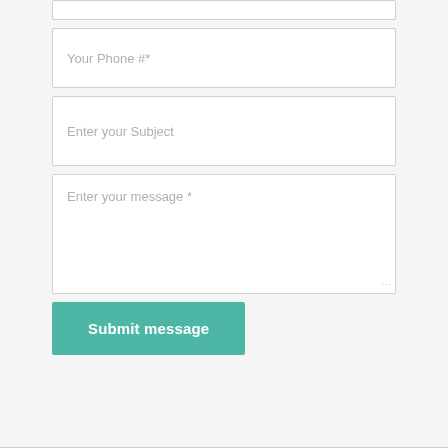[Figure (screenshot): Partial top of a form input field, cropped at the top of the page]
Your Phone #*
Enter your Subject
Enter your message *
Submit message